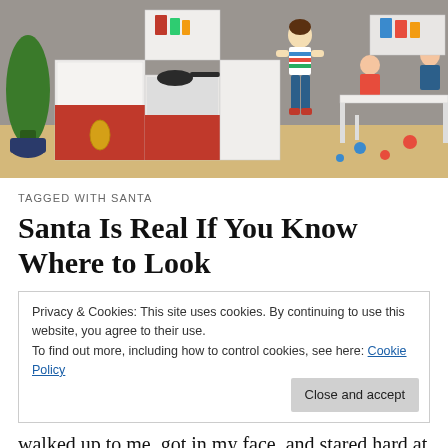[Figure (photo): Photo of Playmobil toy figures in a kitchen and dining room scene, with a Christmas tree on the left]
TAGGED WITH SANTA
Santa Is Real If You Know Where to Look
Privacy & Cookies: This site uses cookies. By continuing to use this website, you agree to their use.
To find out more, including how to control cookies, see here: Cookie Policy
[Close and accept button]
walked up to me, got in my face, and stared hard at me